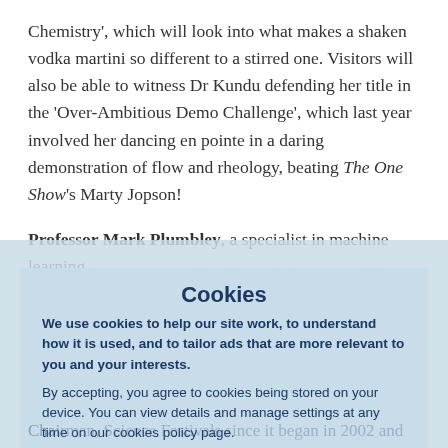Chemistry', which will look into what makes a shaken vodka martini so different to a stirred one. Visitors will also be able to witness Dr Kundu defending her title in the 'Over-Ambitious Demo Challenge', which last year involved her dancing en pointe in a daring demonstration of flow and rheology, beating The One Show's Marty Jopson!
Professor Mark Plumbley, a specialist in machine learning and signal processing within Surrey's Centre for Vision, Speech and Signal Processing, will present a fascinating session which poses the question 'Is Your Tech Listening To You'. Together with cybersecurity specialist Jason R C Nurse and BBC Technology Correspondent Rory Cellan-Jones, he will assess where AI has the knowledge to accurately locate where we divulge significant private data, and how this may leave us vulnerable to divulging private information.
[Figure (screenshot): Cookie consent dialog overlay with title 'Cookies', body text explaining cookie usage and consent, and two buttons: 'MANAGE SETTINGS' and 'ACCEPT']